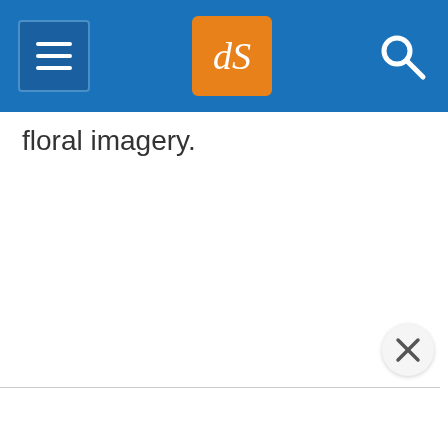dPS navigation header with menu, logo, and search
floral imagery.